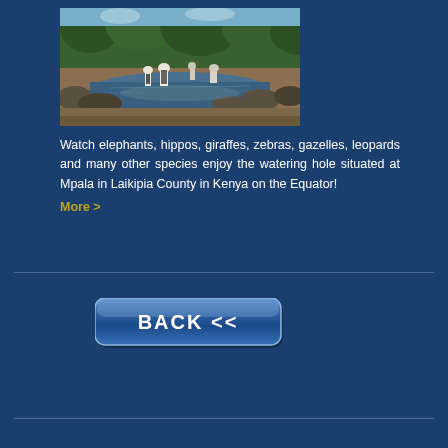[Figure (photo): Wildlife photo showing zebras and other animals at a watering hole with rocks and green vegetation in background]
Watch elephants, hippos, giraffes, zebras, gazelles, leopards and many other species enjoy the watering hole situated at Mpala in Laikipia County in Kenya on the Equator! More >
[Figure (other): Blue BACK button with double left-pointing chevrons (<<)]